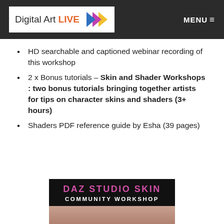Digital Art LIVE  MENU
HD searchable and captioned webinar recording of this workshop
2 x Bonus tutorials – Skin and Shader Workshops : two bonus tutorials bringing together artists for tips on character skins and shaders (3+ hours)
Shaders PDF reference guide by Esha (39 pages)
[Figure (photo): DAZ Studio Skin Community Workshop promotional image with pink/magenta text on dark background showing a face at the bottom]